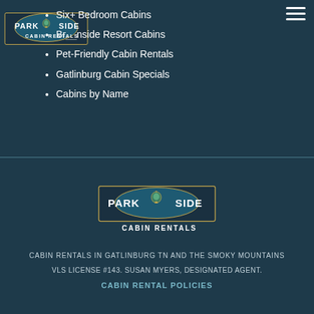[Figure (logo): Park Side Cabin Rentals logo — oval with a lantern, text PARK SIDE and CABIN RENTALS]
Six+ Bedroom Cabins
Br__nside Resort Cabins
Pet-Friendly Cabin Rentals
Gatlinburg Cabin Specials
Cabins by Name
[Figure (logo): Park Side Cabin Rentals footer logo — oval with a lantern, text PARK SIDE and CABIN RENTALS]
CABIN RENTALS IN GATLINBURG TN AND THE SMOKY MOUNTAINS
VLS LICENSE #143. SUSAN MYERS, DESIGNATED AGENT.
CABIN RENTAL POLICIES